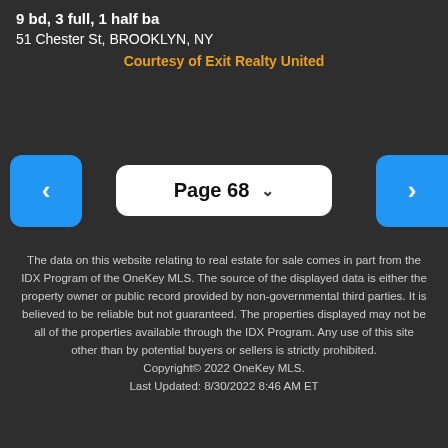9 bd, 3 full, 1 half ba
51 Chester St, BROOKLYN, NY
Courtesy of Exit Realty United
Page 68
The data on this website relating to real estate for sale comes in part from the IDX Program of the OneKey MLS. The source of the displayed data is either the property owner or public record provided by non-governmental third parties. It is believed to be reliable but not guaranteed. The properties displayed may not be all of the properties available through the IDX Program. Any use of this site other than by potential buyers or sellers is strictly prohibited. Copyright© 2022 OneKey MLS. Last Updated: 8/30/2022 8:46 AM ET